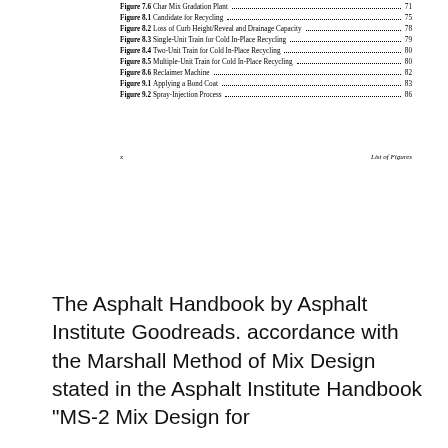Figure 7.6  Char Mix Gradation Plant  71
Figure 8.1  Candidate for Recycling  75
Figure 8.2  Loss of Curb Height/Reveal and Drainage Capacity  78
Figure 8.3  Single-Unit Train for Cold In-Place Recycling  79
Figure 8.4  Two-Unit Train for Cold In-Place Recycling  80
Figure 8.5  Multiple-Unit Train for Cold In-Place Recycling  80
Figure 8.6  Reclaimer Machine  82
Figure 9.1  Applying a Bond Coat  83
Figure 9.2  Spray-Injection Process  86
x                                                              List of Figures
The Asphalt Handbook by Asphalt Institute Goodreads. accordance with the Marshall Method of Mix Design stated in the Asphalt Institute Handbook "MS-2 Mix Design for